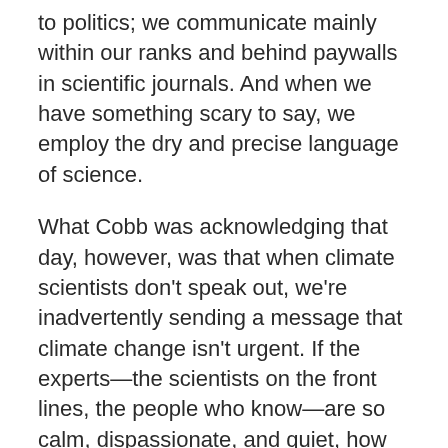to politics; we communicate mainly within our ranks and behind paywalls in scientific journals. And when we have something scary to say, we employ the dry and precise language of science.
What Cobb was acknowledging that day, however, was that when climate scientists don't speak out, we're inadvertently sending a message that climate change isn't urgent. If the experts—the scientists on the front lines, the people who know—are so calm, dispassionate, and quiet, how bad can it really be?
I experience a surreal tension between the terrifying changes unfolding within the Earth system and the Spock-like calm maintained within the scientific community. Following a